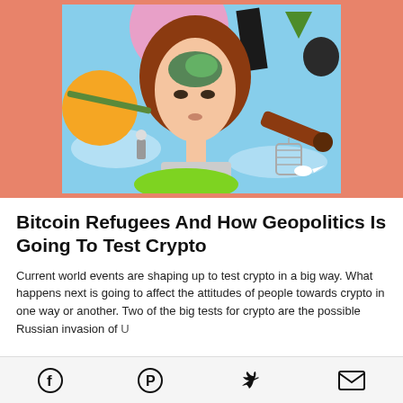[Figure (illustration): Surrealist collage illustration of a woman's face with various objects including a pink circle, orange circle, green shapes, telescope, birdcage, against a salmon/coral background with blue sky center panel.]
Bitcoin Refugees And How Geopolitics Is Going To Test Crypto
Current world events are shaping up to test crypto in a big way. What happens next is going to affect the attitudes of people towards crypto in one way or another. Two of the big tests for crypto are the possible Russian invasion of Ukraine...